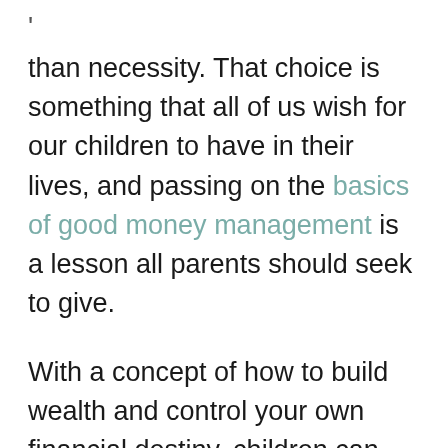' than necessity. That choice is something that all of us wish for our children to have in their lives, and passing on the basics of good money management is a lesson all parents should seek to give.
With a concept of how to build wealth and control your own financial destiny, children can grow into confident adults with the skills and opportunities we want them to have. While experience is really the only route to learning prudence, there are many important things we can instill during childhood that will